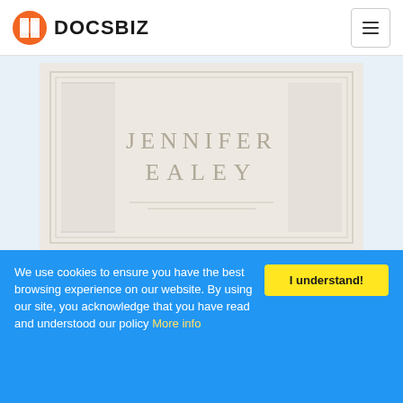DOCSBIZ
[Figure (photo): Book cover for Bronze Magic by Jennifer Ealey — light cream/gray background with embossed text JENNIFER EALEY]
Bronze Magic. Epic. Jennifer Ealey
[Figure (photo): Thumbnail image placeholder for Mary Shelley - Frankenstein book]
Frankenstein. Sci-Fi & Fantasy. Mary Shelley
We use cookies to ensure you have the best browsing experience on our website. By using our site, you acknowledge that you have read and understood our policy More info